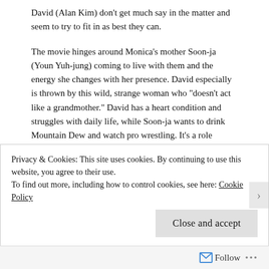David (Alan Kim) don't get much say in the matter and seem to try to fit in as best they can.
The movie hinges around Monica’s mother Soon-ja (Youn Yuh-jung) coming to live with them and the energy she changes with her presence. David especially is thrown by this wild, strange woman who “doesn’t act like a grandmother.” David has a heart condition and struggles with daily life, while Soon-ja wants to drink Mountain Dew and watch pro wrestling. It’s a role reversal between two characters we spend a lot of time with and it adds to the reality of the world. These aren’t stock figures in a movie about “finding a better life,” these are real people with real quirks and real ambitions.
Privacy & Cookies: This site uses cookies. By continuing to use this website, you agree to their use.
To find out more, including how to control cookies, see here: Cookie Policy
Follow ...